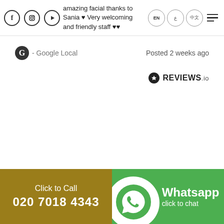amazing facial thanks to Sania ♥ Very welcoming and friendly staff ♥♥
G - Google Local   Posted 2 weeks ago
[Figure (logo): REVIEWS.io badge with star logo]
[Figure (infographic): Bottom bar with Click to Call 020 7018 4343 on gold background and WhatsApp click to chat on green background]